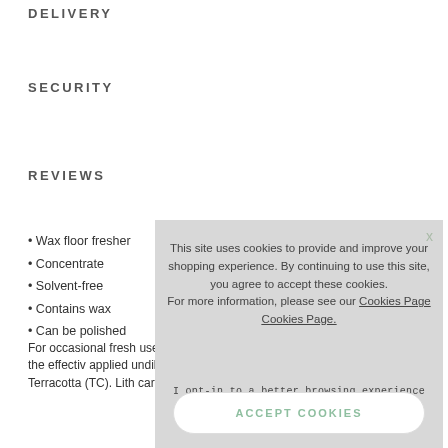DELIVERY
SECURITY
REVIEWS
Wax floor fresher
Concentrate
Solvent-free
Contains wax
Can be polished
For occasional fresh... used with the CLASS... reinforce the effectiv... applied undiluted or... used surfaces. A sp... Terracotta (TC). Lith... care treatment base...
[Figure (screenshot): Cookie consent popup overlay with text: 'This site uses cookies to provide and improve your shopping experience. By continuing to use this site, you agree to accept these cookies. For more information, please see our Cookies Page Cookies Page.' with 'I opt-in to a better browsing experience' link and 'ACCEPT COOKIES' button.]